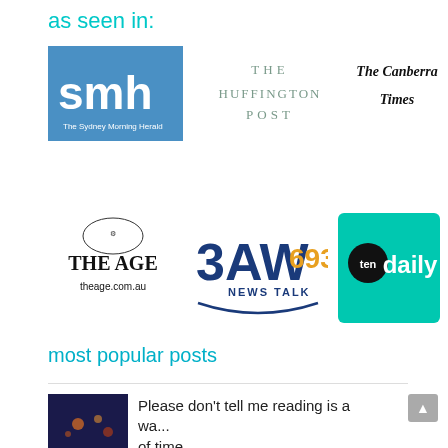as seen in:
[Figure (logo): Sydney Morning Herald (smh) logo - blue square with white smh text]
[Figure (logo): The Huffington Post logo - gray serif text]
[Figure (logo): The Canberra Times logo - black gothic serif text]
[Figure (logo): The Age theage.com.au logo - black serif text with crest]
[Figure (logo): 3AW 693 News Talk logo - blue and orange radio station logo]
[Figure (logo): ten daily logo - teal/turquoise square with white 'daily' text and black 'ten' circle]
most popular posts
[Figure (photo): Thumbnail image with dark blue/purple tones, candles or lights visible]
Please don't tell me reading is a wa... of time